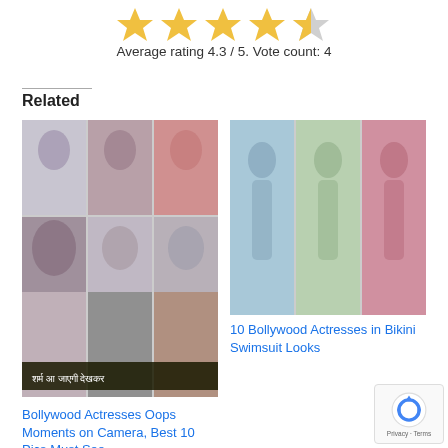[Figure (other): Star rating display showing 4.3 out of 5 stars (4 filled stars and 1 partially filled star)]
Average rating 4.3 / 5. Vote count: 4
Related
[Figure (photo): Collage of popular Indian actresses photos]
Popular Indian Actresses Name List with Photo 2022
[Figure (photo): Collage of Bollywood actresses in bikini swimsuit looks]
10 Bollywood Actresses in Bikini Swimsuit Looks
[Figure (photo): Collage of Bollywood actresses oops moments on camera with Hindi text overlay]
Bollywood Actresses Oops Moments on Camera, Best 10 Pics Must See